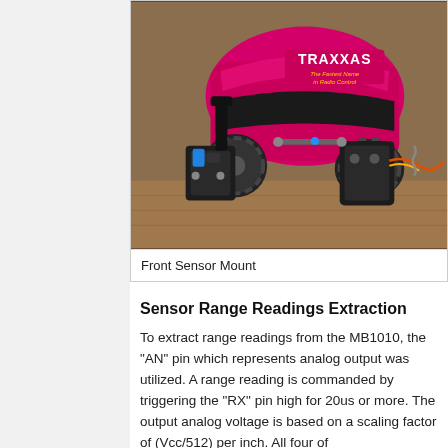[Figure (photo): Photo of a Traxxas RC car with a front sensor mount showing a black 3D-printed sensor bracket and mounts attached to the front of the vehicle. The car has a bright pink/red body with the Traxxas logo visible.]
Front Sensor Mount
Sensor Range Readings Extraction
To extract range readings from the MB1010, the "AN" pin which represents analog output was utilized. A range reading is commanded by triggering the "RX" pin high for 20us or more. The output analog voltage is based on a scaling factor of (Vcc/512) per inch. All four of